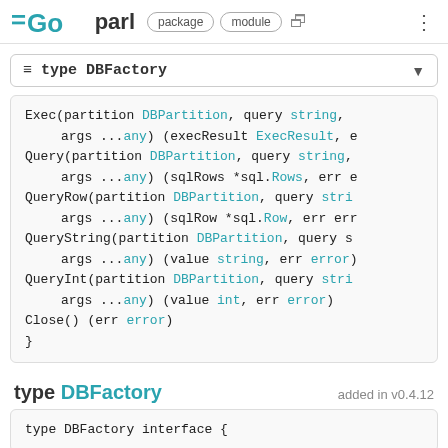GO parl package module
≡ type DBFactory
Exec(partition DBPartition, query string, args ...any) (execResult ExecResult, e
        Query(partition DBPartition, query string,
            args ...any) (sqlRows *sql.Rows, err e
        QueryRow(partition DBPartition, query stri
            args ...any) (sqlRow *sql.Row, err err
        QueryString(partition DBPartition, query s
            args ...any) (value string, err error)
        QueryInt(partition DBPartition, query stri
            args ...any) (value int, err error)
        Close() (err error)
}
type DBFactory
added in v0.4.12
type DBFactory interface {